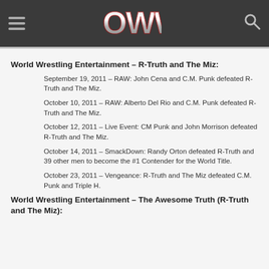OWW (Online World of Wrestling) site header with hamburger menu and search icon
World Wrestling Entertainment – R-Truth and The Miz:
September 19, 2011 – RAW: John Cena and C.M. Punk defeated R-Truth and The Miz.
October 10, 2011 – RAW: Alberto Del Rio and C.M. Punk defeated R-Truth and The Miz.
October 12, 2011 – Live Event: CM Punk and John Morrison defeated R-Truth and The Miz.
October 14, 2011 – SmackDown: Randy Orton defeated R-Truth and 39 other men to become the #1 Contender for the World Title.
October 23, 2011 – Vengeance: R-Truth and The Miz defeated C.M. Punk and Triple H.
World Wrestling Entertainment – The Awesome Truth (R-Truth and The Miz):